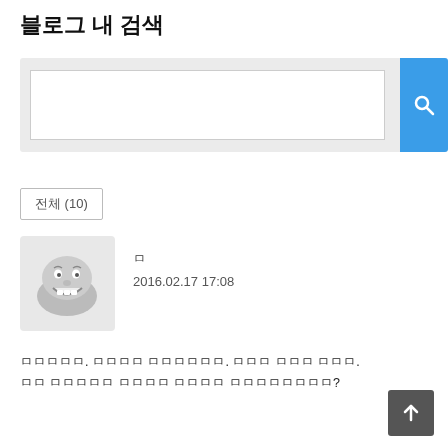블로그 내 검색
[Figure (screenshot): Search box UI with a white input field on a light gray background and a blue search button with a magnifying glass icon on the right]
전체 (10)
[Figure (illustration): Cartoon avatar of a grinning character resembling a hamburger or toad face, gray tones, displayed inside a light gray square]
ㅁ
2016.02.17 17:08
ㅁㅁㅁㅁㅁ. ㅁㅁㅁㅁ ㅁㅁㅁㅁㅁㅁ. ㅁㅁㅁ ㅁㅁㅁ ㅁㅁㅁ.
ㅁㅁ ㅁㅁㅁㅁㅁ ㅁㅁㅁㅁ ㅁㅁㅁㅁ ㅁㅁㅁㅁㅁㅁㅁㅁ?